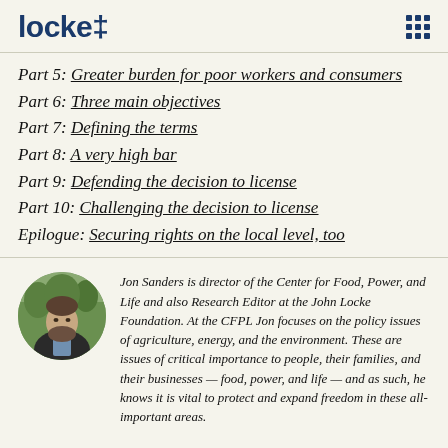locke
Part 5: Greater burden for poor workers and consumers
Part 6: Three main objectives
Part 7: Defining the terms
Part 8: A very high bar
Part 9: Defending the decision to license
Part 10: Challenging the decision to license
Epilogue: Securing rights on the local level, too
[Figure (photo): Circular portrait photo of Jon Sanders, a man with a beard wearing a suit jacket, with trees in background]
Jon Sanders is director of the Center for Food, Power, and Life and also Research Editor at the John Locke Foundation. At the CFPL Jon focuses on the policy issues of agriculture, energy, and the environment. These are issues of critical importance to people, their families, and their businesses — food, power, and life — and as such, he knows it is vital to protect and expand freedom in these all-important areas.